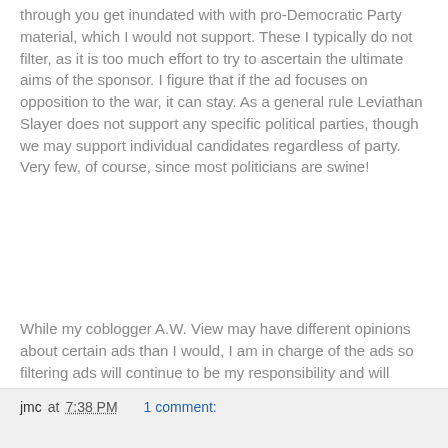through you get inundated with with pro-Democratic Party material, which I would not support. These I typically do not filter, as it is too much effort to try to ascertain the ultimate aims of the sponsor. I figure that if the ad focuses on opposition to the war, it can stay. As a general rule Leviathan Slayer does not support any specific political parties, though we may support individual candidates regardless of party. Very few, of course, since most politicians are swine!
While my coblogger A.W. View may have different opinions about certain ads than I would, I am in charge of the ads so filtering ads will continue to be my responsibility and will ultimately reflect my personal views. Since I cannot constantly monitor the ads, please understand that there will be some which directly oppose the philosophies and views espoused by this site. Now click on some ads, dammit, so we can make some money!! Just kidding, hey hey, and thanks for reading this disclaimer.
jmc at 7:38 PM   1 comment: